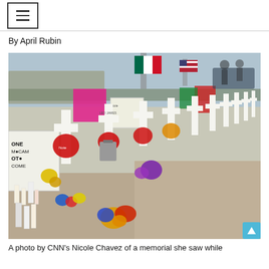By April Rubin
[Figure (photo): A row of white memorial crosses with flowers, candles, flags (including Mexican flag), and handwritten notes placed at a roadside memorial. A sign reads 'NO ONE CAN STOP LOVE'. People and vehicles visible in the background.]
A photo by CNN's Nicole Chavez of a memorial she saw while